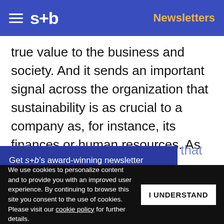s+b | Newsletters
true value to the business and society. And it sends an important signal across the organization that sustainability is as crucial to a company as, for instance, its finances or human resources. As Esther Verburg, EVP of sustainable business and innovation at Tommy Hilfiger Global, told us, “That makes a huge difference, because it means that we don’t [have to justify sustainability] anymore. It is
Get s+b’s award-winning newsletter delivered to your inbox.
We use cookies to personalize content and to provide you with an improved user experience. By continuing to browse this site you consent to the use of cookies. Please visit our cookie policy for further details.